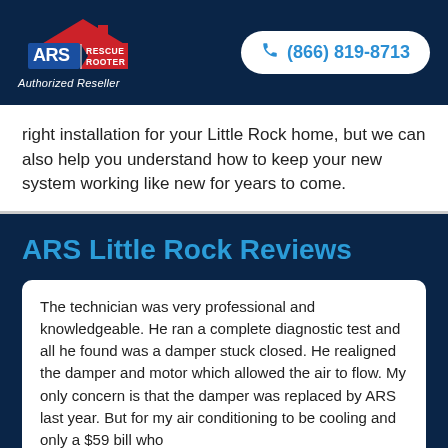[Figure (logo): ARS Rescue Rooter logo with Authorized Reseller text below, on dark navy background header, with phone number (866) 819-8713 in a white rounded button]
right installation for your Little Rock home, but we can also help you understand how to keep your new system working like new for years to come.
ARS Little Rock Reviews
The technician was very professional and knowledgeable. He ran a complete diagnostic test and all he found was a damper stuck closed. He realigned the damper and motor which allowed the air to flow. My only concern is that the damper was replaced by ARS last year. But for my air conditioning to be cooling and only a $59 bill who